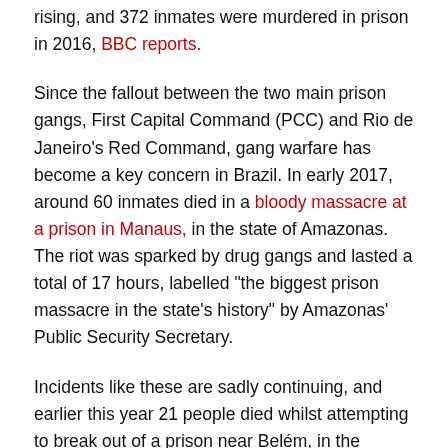rising, and 372 inmates were murdered in prison in 2016, BBC reports.
Since the fallout between the two main prison gangs, First Capital Command (PCC) and Rio de Janeiro's Red Command, gang warfare has become a key concern in Brazil. In early 2017, around 60 inmates died in a bloody massacre at a prison in Manaus, in the state of Amazonas. The riot was sparked by drug gangs and lasted a total of 17 hours, labelled "the biggest prison massacre in the state's history" by Amazonas' Public Security Secretary.
Incidents like these are sadly continuing, and earlier this year 21 people died whilst attempting to break out of a prison near Belém, in the Northeastern state of Pará.
Related: 21 dead in attempt to escape from Belém prison complex
Stuck in these desperate conditions, initiatives that give access to craft skills, allow creative expression or rely on other form of art are often driven by empathy that many share with those behind bars...